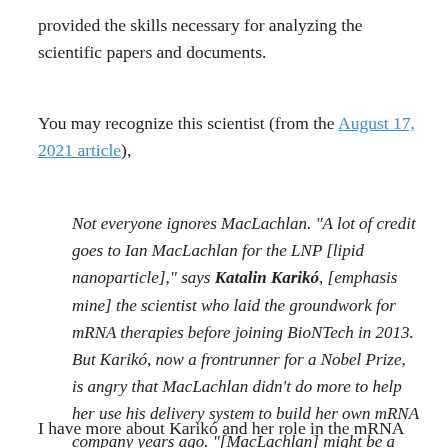provided the skills necessary for analyzing the scientific papers and documents.
You may recognize this scientist (from the August 17, 2021 article),
Not everyone ignores MacLachlan. “A lot of credit goes to Ian MacLachlan for the LNP [lipid nanoparticle],” says Katalin Karikó, [emphasis mine] the scientist who laid the groundwork for mRNA therapies before joining BioNTech in 2013. But Karikó, now a frontrunner for a Nobel Prize, is angry that MacLachlan didn’t do more to help her use his delivery system to build her own mRNA company years ago. “[MacLachlan] might be a great scientist, but he lacked vision,” she says.
I have more about Karikó and her role in the mRNA vaccine